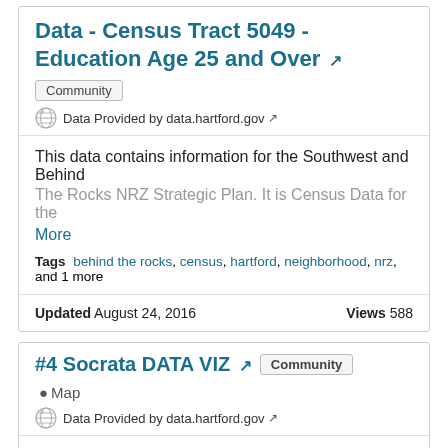Data - Census Tract 5049 - Education Age 25 and Over
Community
Data Provided by data.hartford.gov
This data contains information for the Southwest and Behind The Rocks NRZ Strategic Plan. It is Census Data for the More
Tags  behind the rocks, census, hartford, neighborhood, nrz, and 1 more
Updated August 24, 2016    Views 588
#4 Socrata DATA VIZ  Community  Map
Data Provided by data.hartford.gov
This data contains information for the Southwest and Behind The Rocks NRZ Strategic Plan. It is crime data for 1985, More
Tags  behind the rocks, crime, hartford, neighborhood, nrz, and 2 more